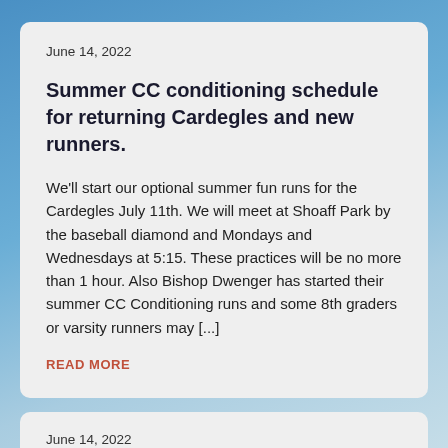June 14, 2022
Summer CC conditioning schedule for returning Cardegles and new runners.
We'll start our optional summer fun runs for the Cardegles July 11th. We will meet at Shoaff Park by the baseball diamond and Mondays and Wednesdays at 5:15. These practices will be no more than 1 hour. Also Bishop Dwenger has started their summer CC Conditioning runs and some 8th graders or varsity runners may [...]
READ MORE
June 14, 2022